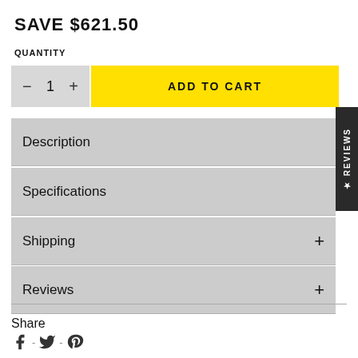SAVE $621.50
QUANTITY
− 1 +
ADD TO CART
Description
Specifications
Shipping
Reviews
★ REVIEWS
Share
f - 𝕏 - ⊕